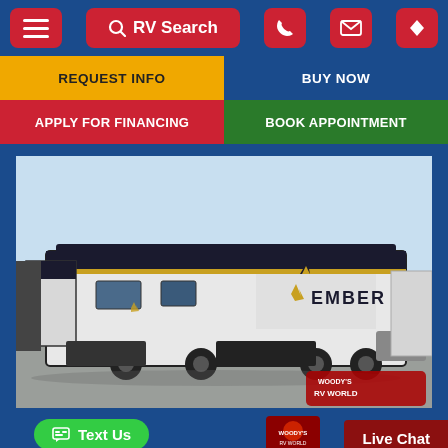[Figure (screenshot): Mobile website navigation bar with dark blue background, hamburger menu button, RV Search button, phone, email, and directions icon buttons, all in red]
[Figure (screenshot): Four action buttons: REQUEST INFO (gold/yellow), BUY NOW (dark blue), APPLY FOR FINANCING (red), BOOK APPOINTMENT (green)]
[Figure (photo): Photo of an Ember brand travel trailer/RV in a dealer lot with multiple slideouts visible, white and black exterior with gold accents and Ember logo]
[Figure (screenshot): Green Text Us button and dark red Live Chat button at the bottom of the page, with Woody's RV World logo]